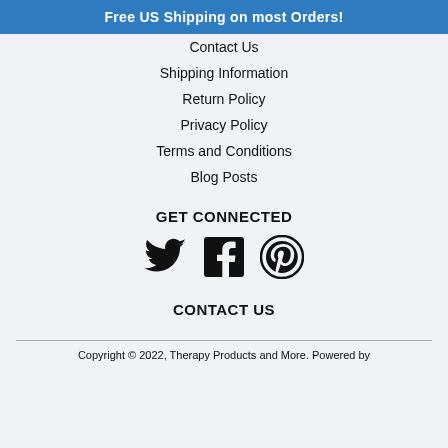Free US Shipping on most Orders!
Contact Us
Shipping Information
Return Policy
Privacy Policy
Terms and Conditions
Blog Posts
GET CONNECTED
[Figure (infographic): Social media icons: Twitter bird icon, Facebook icon (f in black square), Pinterest icon (P in circle)]
CONTACT US
Copyright © 2022, Therapy Products and More. Powered by